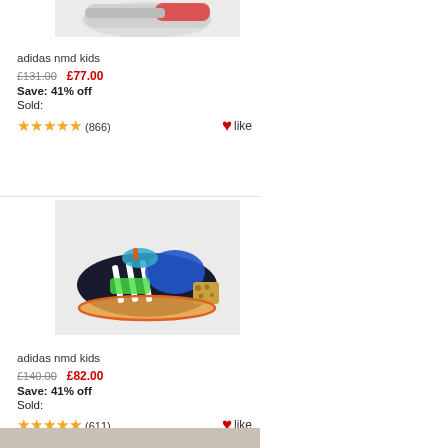[Figure (photo): Partial top view of an adidas NMD kids sneaker with red and gray colors on light gray background]
adidas nmd kids
£131.00  £77.00
Save: 41% off
Sold:
★★★★★ (866)  ♥like
[Figure (photo): Adidas NMD kids sneaker in black, blue, green, and orange colorway with leopard print heel tab on light gray background]
adidas nmd kids
£140.00  £82.00
Save: 41% off
Sold:
★★★★★ (611)  ♥like